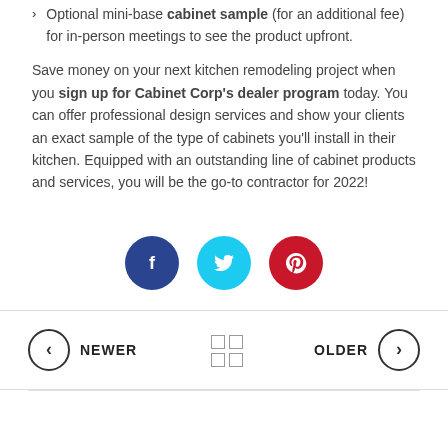Optional mini-base cabinet sample (for an additional fee) for in-person meetings to see the product upfront.
Save money on your next kitchen remodeling project when you sign up for Cabinet Corp's dealer program today. You can offer professional design services and show your clients an exact sample of the type of cabinets you'll install in their kitchen. Equipped with an outstanding line of cabinet products and services, you will be the go-to contractor for 2022!
[Figure (infographic): Row of three social media share buttons: Facebook (dark blue circle with f icon), Twitter (cyan circle with bird icon), Pinterest (red circle with P icon)]
NEWER | grid icon | OLDER navigation